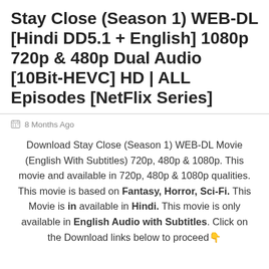Stay Close (Season 1) WEB-DL [Hindi DD5.1 + English] 1080p 720p & 480p Dual Audio [10Bit-HEVC] HD | ALL Episodes [NetFlix Series]
8 Months Ago
Download Stay Close (Season 1) WEB-DL Movie (English With Subtitles) 720p, 480p & 1080p. This movie and available in 720p, 480p & 1080p qualities. This movie is based on Fantasy, Horror, Sci-Fi. This Movie is in available in Hindi. This movie is only available in English Audio with Subtitles. Click on the Download links below to proceed 👇